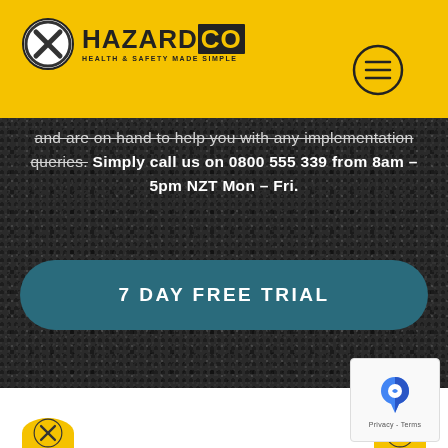HAZARDCO - HEALTH & SAFETY MADE SIMPLE
and are on hand to help you with any implementation queries. Simply call us on 0800 555 339 from 8am – 5pm NZT Mon – Fri.
7 DAY FREE TRIAL